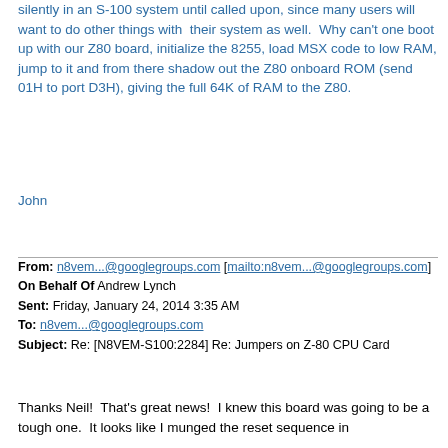silently in an S-100 system until called upon, since many users will want to do other things with their system as well. Why can't one boot up with our Z80 board, initialize the 8255, load MSX code to low RAM, jump to it and from there shadow out the Z80 onboard ROM (send 01H to port D3H), giving the full 64K of RAM to the Z80.
John
From: n8vem...@googlegroups.com [mailto:n8vem...@googlegroups.com] On Behalf Of Andrew Lynch
Sent: Friday, January 24, 2014 3:35 AM
To: n8vem...@googlegroups.com
Subject: Re: [N8VEM-S100:2284] Re: Jumpers on Z-80 CPU Card
Thanks Neil! That's great news! I knew this board was going to be a tough one. It looks like I munged the reset sequence in